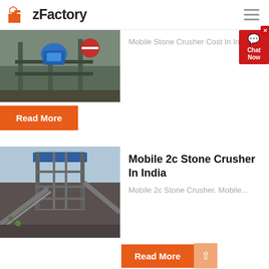zFactory
[Figure (photo): Industrial stone crusher machinery photographed from above, showing blue motor/pump equipment and structural framework with a red circular sign visible]
Mobile Stone Crusher Cost In In...
Read More
[Figure (photo): Large industrial stone crushing plant with tall metal framework and blue roofing structure, conveyor belts and industrial equipment visible]
Mobile 2c Stone Crusher In India
Mobile 2c Stone Crusher. Mobile...
Read More